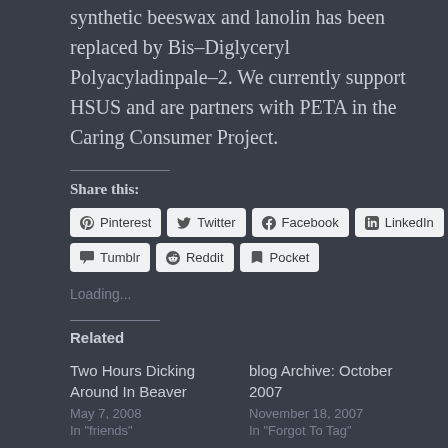synthetic beeswax and lanolin has been replaced by Bis-Diglyceryl Polyacyladinpale-2. We currently support HSUS and are partners with PETA in the Caring Consumer Project.
Share this:
Pinterest  Twitter  Facebook  LinkedIn  Tumblr  Reddit  Pocket
Loading...
Related
Two Hours Dicking Around In Beaver
May 7, 2008
In "friends"
blog Archive: October 2007
November 18, 2007
In "Forgot To Tag"